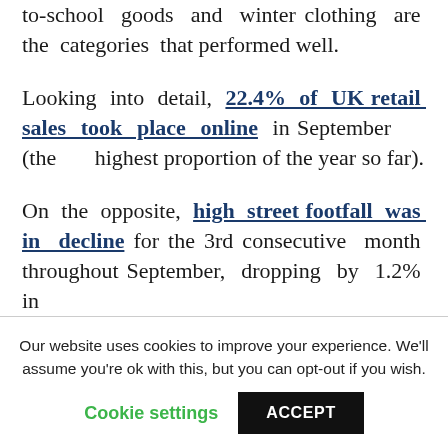to-school goods and winter clothing are the categories that performed well.
Looking into detail, 22.4% of UK retail sales took place online in September (the highest proportion of the year so far).
On the opposite, high street footfall was in decline for the 3rd consecutive month throughout September, dropping by 1.2% in
Our website uses cookies to improve your experience. We'll assume you're ok with this, but you can opt-out if you wish. Cookie settings ACCEPT